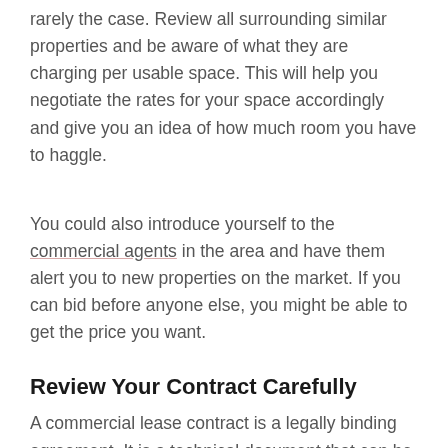rarely the case. Review all surrounding similar properties and be aware of what they are charging per usable space. This will help you negotiate the rates for your space accordingly and give you an idea of how much room you have to haggle.
You could also introduce yourself to the commercial agents in the area and have them alert you to new properties on the market. If you can bid before anyone else, you might be able to get the price you want.
Review Your Contract Carefully
A commercial lease contract is a legally binding agreement. It is a technical document that can be